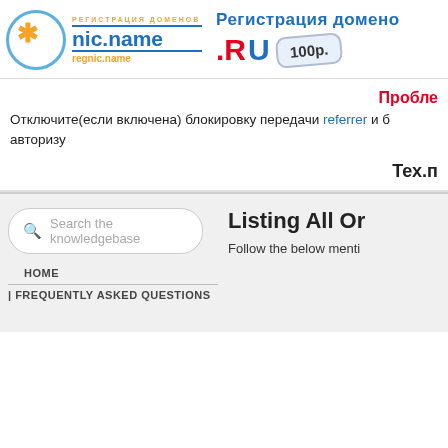[Figure (logo): nic.name / regnic.name domain registration logo with orange star and blue circle]
[Figure (logo): Регистрация доменов .RU 100р. advertisement banner]
Пробле
Отключите(если включена) блокировку передачи referrer и б авторизу
Тех.п
Search the knowledgebase
HOME
FREQUENTLY ASKED QUESTIONS
Listing All Or
Follow the below menti